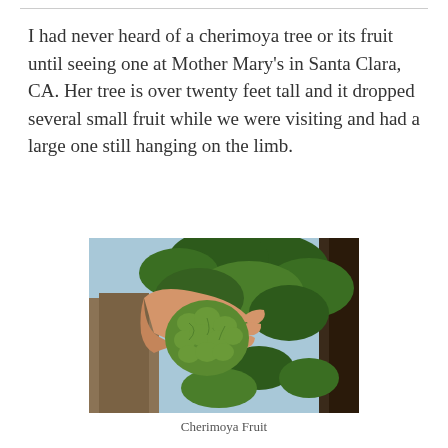I had never heard of a cherimoya tree or its fruit until seeing one at Mother Mary's in Santa Clara, CA. Her tree is over twenty feet tall and it dropped several small fruit while we were visiting and had a large one still hanging on the limb.
[Figure (photo): A hand holding or touching a large green cherimoya fruit hanging on a tree branch, surrounded by green leaves, photographed outdoors.]
Cherimoya Fruit